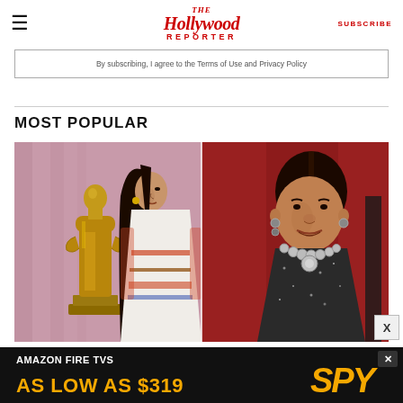The Hollywood Reporter | SUBSCRIBE
By subscribing, I agree to the Terms of Use and Privacy Policy
MOST POPULAR
[Figure (photo): Two side-by-side photos: left shows a young woman in traditional Native American dress standing next to a golden Oscar statuette against a pink backdrop; right shows an older Native American woman against a red background wearing a silver necklace and dark sparkly dress.]
[Figure (photo): Advertisement banner: Amazon Fire TVs - As Low As $319, with SPY logo on dark background]